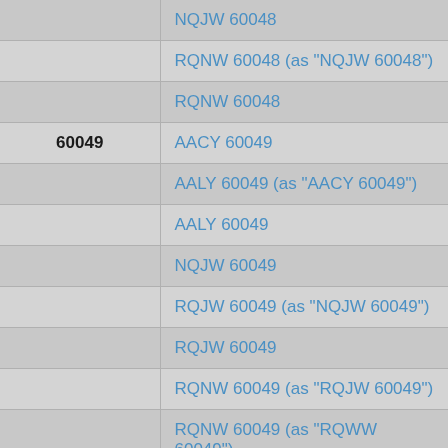| ID | Label |
| --- | --- |
|  | NQJW 60048 |
|  | RQNW 60048 (as "NQJW 60048") |
|  | RQNW 60048 |
| 60049 | AACY 60049 |
|  | AALY 60049 (as "AACY 60049") |
|  | AALY 60049 |
|  | NQJW 60049 |
|  | RQJW 60049 (as "NQJW 60049") |
|  | RQJW 60049 |
|  | RQNW 60049 (as "RQJW 60049") |
|  | RQNW 60049 (as "RQWW 60049") |
|  | RQNW 60049 |
|  | RQWW 60049 |
| 60050 | AACY 60050 |